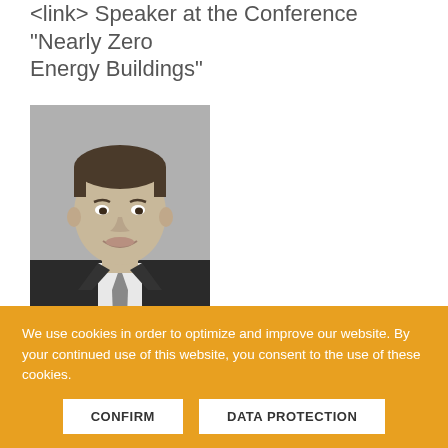<link> Speaker at the Conference "Nearly Zero Energy Buildings"
[Figure (photo): Black and white professional headshot of Jan Geiss, a man in a suit and tie, smiling]
Jan Geiss
Secretary General of EUFORES – The
We use cookies in order to optimize and improve our website. By your continued use of this website, you consent to the use of these cookies.
CONFIRM | DATA PROTECTION